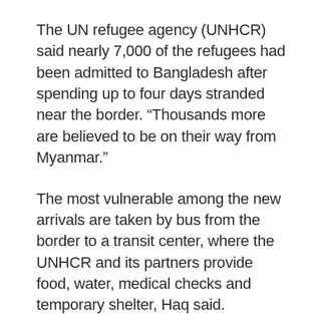The UN refugee agency (UNHCR) said nearly 7,000 of the refugees had been admitted to Bangladesh after spending up to four days stranded near the border. “Thousands more are believed to be on their way from Myanmar.”
The most vulnerable among the new arrivals are taken by bus from the border to a transit center, where the UNHCR and its partners provide food, water, medical checks and temporary shelter, Haq said.
The UN Children’s Agency (UNICEF) said that desperate living conditions and water-borne diseases are threatening more than 320,000 Rohingya refugee children, he said.